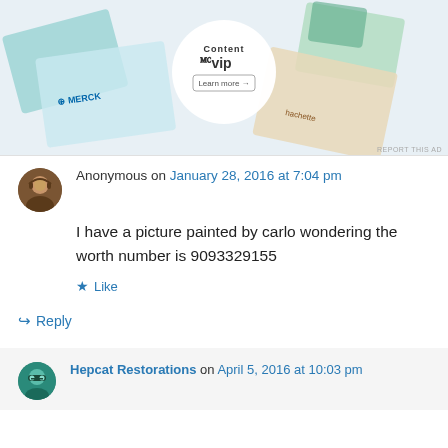[Figure (screenshot): WordPress VIP advertisement banner showing brand logos including Merck and Hachette, with a circular badge showing WordPress VIP logo and Learn more button]
Anonymous on January 28, 2016 at 7:04 pm
I have a picture painted by carlo wondering the worth number is 9093329155
Like
Reply
Hepcat Restorations on April 5, 2016 at 10:03 pm